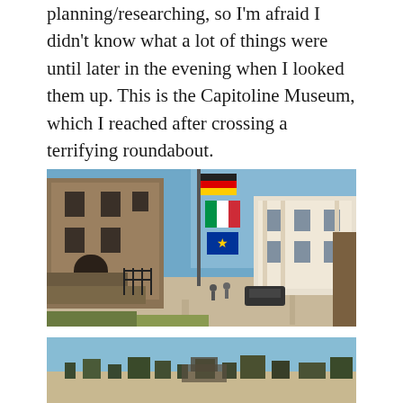planning/researching, so I'm afraid I didn't know what a lot of things were until later in the evening when I looked them up. This is the Capitoline Museum, which I reached after crossing a terrifying roundabout.
[Figure (photo): Outdoor photo of the Capitoline Museum area in Rome, showing an ancient stone building on the left, a tall flagpole in the center with German, Italian, and EU flags, and a white classical building on the right. Blue sky, sunny day, people and vehicles visible in the foreground plaza.]
[Figure (photo): Outdoor photo showing a panoramic view of Rome ruins and landscape under a clear blue sky, with ancient structures and trees visible on the horizon.]